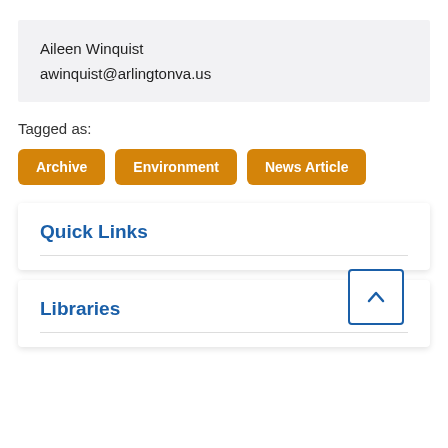Aileen Winquist
awinquist@arlingtonva.us
Tagged as:
Archive
Environment
News Article
Quick Links
Libraries